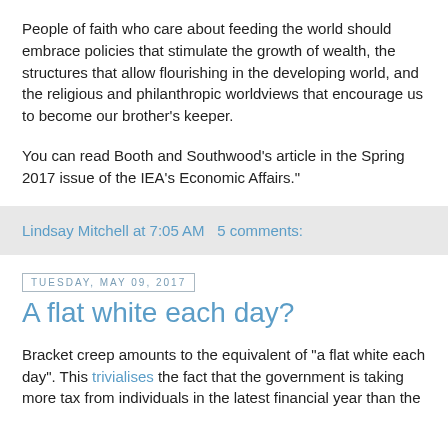People of faith who care about feeding the world should embrace policies that stimulate the growth of wealth, the structures that allow flourishing in the developing world, and the religious and philanthropic worldviews that encourage us to become our brother's keeper.
You can read Booth and Southwood's article in the Spring 2017 issue of the IEA's Economic Affairs."
Lindsay Mitchell at 7:05 AM   5 comments:
Tuesday, May 09, 2017
A flat white each day?
Bracket creep amounts to the equivalent of "a flat white each day". This trivialises the fact that the government is taking more tax from individuals in the latest financial year than the